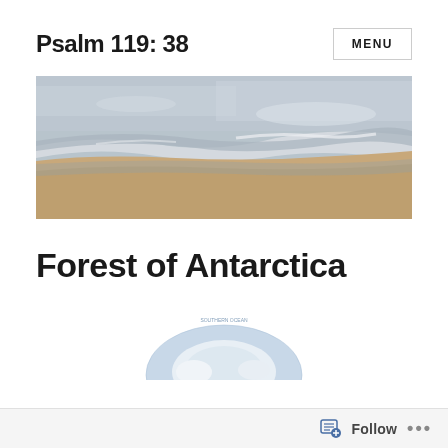Psalm 119: 38
MENU
[Figure (photo): A beach scene showing ocean waves meeting sandy shore, with soft light and muted colors.]
Forest of Antarctica
[Figure (map): A partial globe map showing Antarctica and the Southern Ocean, viewed from above.]
Follow ...